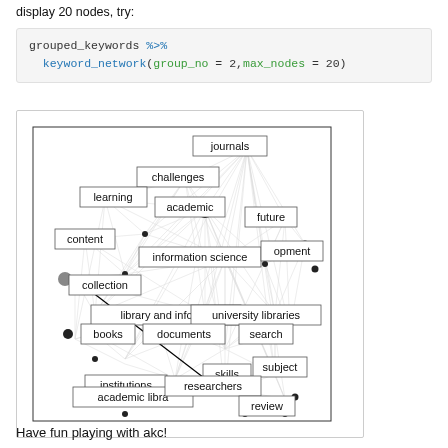display 20 nodes, try:
grouped_keywords %>%
  keyword_network(group_no = 2, max_nodes = 20)
[Figure (network-graph): A keyword co-occurrence network graph showing 20 nodes including: journals, challenges, learning, academic, future, content, information science, development, collection, library and information, university libraries, books, documents, search, institutions, skills, subject, academic libraries, researchers, review. Nodes are connected by edges with varying thickness, displayed with rectangular label boxes and black dot nodes.]
Have fun playing with akc!